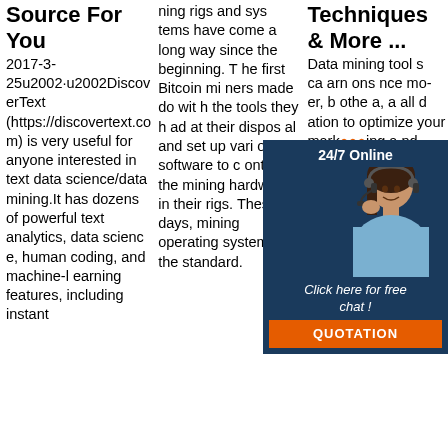Source For You
2017-3-25u2002·u2002DiscoverText (https://discovertext.com) is very useful for anyone interested in text data science/data mining.It has dozens of powerful text analytics, data science, human coding, and machine-learning features, including instant
ning rigs and systems have come a long way since the beginning. The first Bitcoin miners made do with the tools they had at their disposal and set up various software to control the mining hardware in their rigs. These days, mining operating systems are the standard.
Techniques & More ...
Data mining tools ca... arn... ons... nce... mod... er, b... othe... a, a... all d... ation to optimize your marketing and sales efforts. Correlations in purchasing behavi
[Figure (other): Chat widget overlay showing a customer service representative wearing a headset, with '24/7 Online' header, 'Click here for free chat!' text, and 'QUOTATION' button in orange, on dark blue background.]